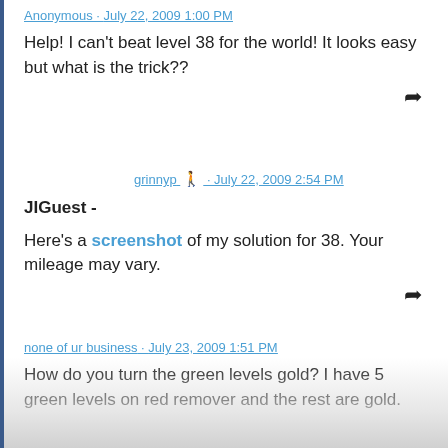Anonymous · July 22, 2009 1:00 PM
Help! I can't beat level 38 for the world! It looks easy but what is the trick??
grinnyp 🏃 · July 22, 2009 2:54 PM
JIGuest -
Here's a screenshot of my solution for 38. Your mileage may vary.
none of ur business · July 23, 2009 1:51 PM
How do you turn the green levels gold? I have 5 green levels on red remover and the rest are gold.